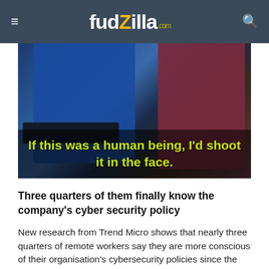fudzilla.com
[Figure (photo): Two people, one in a blue t-shirt standing and one with red hair seated, looking at a laptop screen. Subtitle overlay reads: If this was a human being, I'd shoot it in the face.]
Three quarters of them finally know the company's cyber security policy
New research from Trend Micro shows that nearly three quarters of remote workers say they are more conscious of their organisation's cybersecurity policies since the lockdown began.